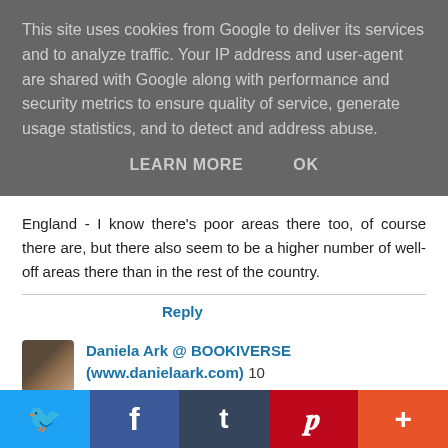This site uses cookies from Google to deliver its services and to analyze traffic. Your IP address and user-agent are shared with Google along with performance and security metrics to ensure quality of service, generate usage statistics, and to detect and address abuse.
LEARN MORE   OK
England - I know there's poor areas there too, of course there are, but there also seem to be a higher number of well-off areas there than in the rest of the country.
Reply
Daniela Ark @ BOOKIVERSE (www.danielaark.com)  10 August 2018 at 06:24
My very humble opinion is – that's not a matter of ambition